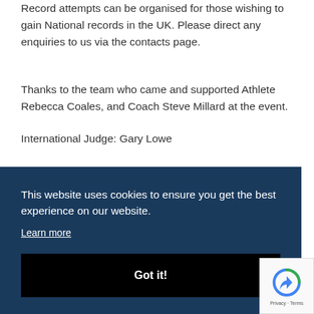Record attempts can be organised for those wishing to gain National records in the UK. Please direct any enquiries to us via the contacts page.
Thanks to the team who came and supported Athlete Rebecca Coales, and Coach Steve Millard at the event.
International Judge: Gary Lowe
This website uses cookies to ensure you get the best experience on our website.
Learn more
Got it!